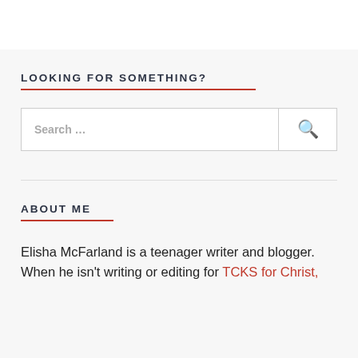LOOKING FOR SOMETHING?
[Figure (screenshot): Search bar with placeholder text 'Search ...' and a search icon button]
ABOUT ME
Elisha McFarland is a teenager writer and blogger. When he isn't writing or editing for TCKS for Christ,